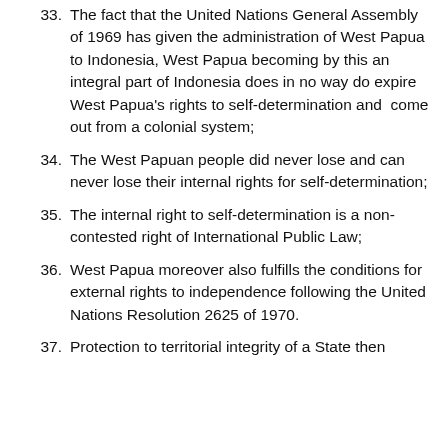33. The fact that the United Nations General Assembly of 1969 has given the administration of West Papua to Indonesia, West Papua becoming by this an integral part of Indonesia does in no way do expire West Papua's rights to self-determination and come out from a colonial system;
34. The West Papuan people did never lose and can never lose their internal rights for self-determination;
35. The internal right to self-determination is a non-contested right of International Public Law;
36. West Papua moreover also fulfills the conditions for external rights to independence following the United Nations Resolution 2625 of 1970.
37. Protection to territorial integrity of a State then